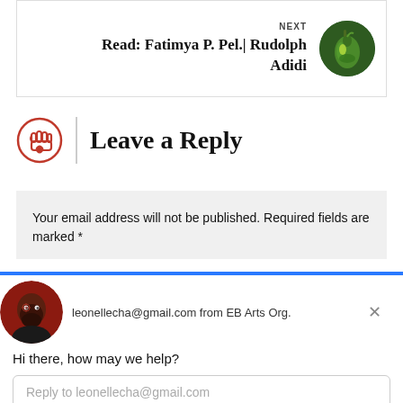NEXT
Read: Fatimya P. Pel.| Rudolph Adidi
Leave a Reply
Your email address will not be published. Required fields are marked *
leonellecha@gmail.com from EB Arts Org.
Hi there, how may we help?
Reply to leonellecha@gmail.com
Chat ⚡ by Drift